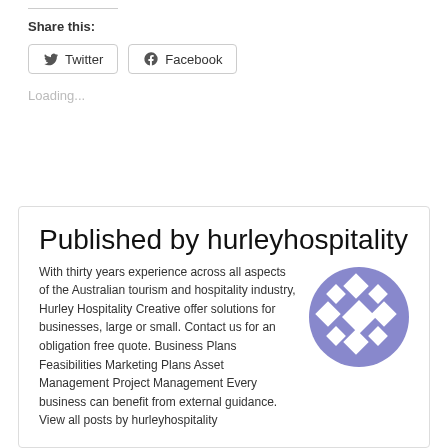Share this:
Twitter  Facebook
Loading...
Published by hurleyhospitality
With thirty years experience across all aspects of the Australian tourism and hospitality industry, Hurley Hospitality Creative offer solutions for businesses, large or small. Contact us for an obligation free quote. Business Plans Feasibilities Marketing Plans Asset Management Project Management Every business can benefit from external guidance. View all posts by hurleyhospitality
[Figure (logo): Circular avatar with blue/purple geometric diamond/snowflake pattern on white background]